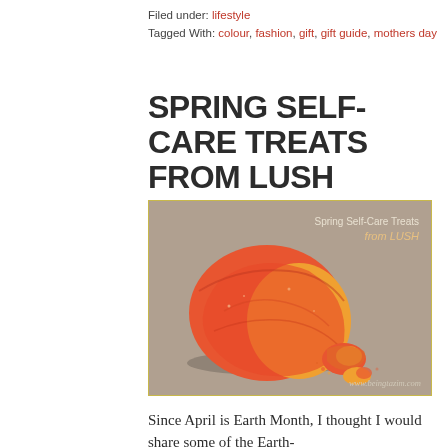Filed under: lifestyle
Tagged With: colour, fashion, gift, gift guide, mothers day
SPRING SELF-CARE TREATS FROM LUSH
by Tazim Damji
[Figure (photo): Photo of a red-orange and yellow LUSH bath bomb with crumbled pieces next to it on a grey surface. Text overlay reads 'Spring Self-Care Treats from LUSH'. Watermark: www.beingtazim.com]
Since April is Earth Month, I thought I would share some of the Earth-